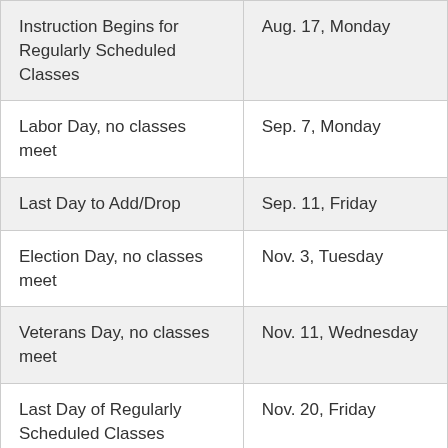| Instruction Begins for Regularly Scheduled Classes | Aug. 17, Monday |
| Labor Day, no classes meet | Sep. 7, Monday |
| Last Day to Add/Drop | Sep. 11, Friday |
| Election Day, no classes meet | Nov. 3, Tuesday |
| Veterans Day, no classes meet | Nov. 11, Wednesday |
| Last Day of Regularly Scheduled Classes | Nov. 20, Friday |